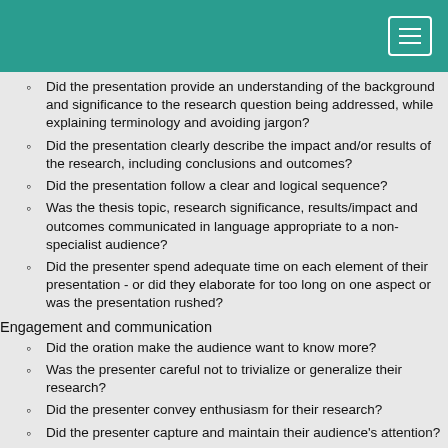Did the presentation provide an understanding of the background and significance to the research question being addressed, while explaining terminology and avoiding jargon?
Did the presentation clearly describe the impact and/or results of the research, including conclusions and outcomes?
Did the presentation follow a clear and logical sequence?
Was the thesis topic, research significance, results/impact and outcomes communicated in language appropriate to a non-specialist audience?
Did the presenter spend adequate time on each element of their presentation - or did they elaborate for too long on one aspect or was the presentation rushed?
Engagement and communication
Did the oration make the audience want to know more?
Was the presenter careful not to trivialize or generalize their research?
Did the presenter convey enthusiasm for their research?
Did the presenter capture and maintain their audience's attention?